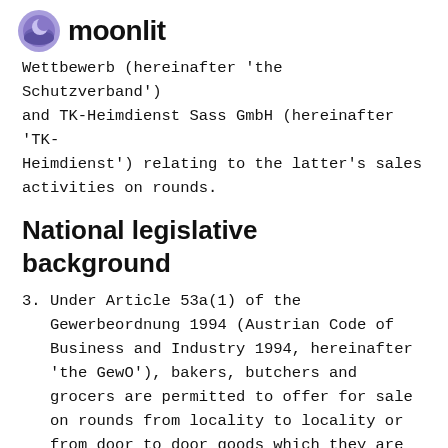moonlit
Wettbewerb (hereinafter 'the Schutzverband') and TK-Heimdienst Sass GmbH (hereinafter 'TK-Heimdienst') relating to the latter's sales activities on rounds.
National legislative background
3. Under Article 53a(1) of the Gewerbeordnung 1994 (Austrian Code of Business and Industry 1994, hereinafter 'the GewO'), bakers, butchers and grocers are permitted to offer for sale on rounds from locality to locality or from door to door goods which they are authorised to offer for sale under their trading licence. Article 53a(2) of the GewO provides that such sales on rounds may only be carried on in a Verwaltungsbezirk